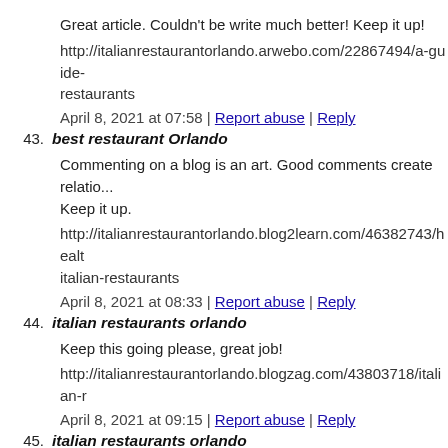Great article. Couldn't be write much better! Keep it up!
http://italianrestaurantorlando.arwebo.com/22867494/a-guide-restaurants
April 8, 2021 at 07:58 | Report abuse | Reply
43. best restaurant Orlando
Commenting on a blog is an art. Good comments create relatio... Keep it up.
http://italianrestaurantorlando.blog2learn.com/46382743/healt italian-restaurants
April 8, 2021 at 08:33 | Report abuse | Reply
44. italian restaurants orlando
Keep this going please, great job!
http://italianrestaurantorlando.blogzag.com/43803718/italian-r
April 8, 2021 at 09:15 | Report abuse | Reply
45. italian restaurants orlando
This is a very interesting article. Please, share more like this!